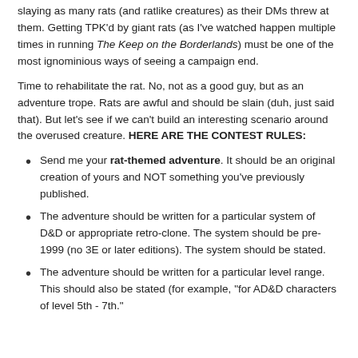slaying as many rats (and ratlike creatures) as their DMs threw at them. Getting TPK'd by giant rats (as I've watched happen multiple times in running The Keep on the Borderlands) must be one of the most ignominious ways of seeing a campaign end.
Time to rehabilitate the rat. No, not as a good guy, but as an adventure trope. Rats are awful and should be slain (duh, just said that). But let's see if we can't build an interesting scenario around the overused creature. HERE ARE THE CONTEST RULES:
Send me your rat-themed adventure. It should be an original creation of yours and NOT something you've previously published.
The adventure should be written for a particular system of D&D or appropriate retro-clone. The system should be pre-1999 (no 3E or later editions). The system should be stated.
The adventure should be written for a particular level range. This should also be stated (for example, "for AD&D characters of level 5th - 7th."